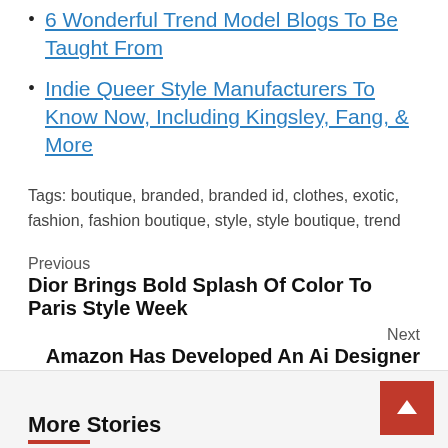6 Wonderful Trend Model Blogs To Be Taught From
Indie Queer Style Manufacturers To Know Now, Including Kingsley, Fang, & More
Tags: boutique, branded, branded id, clothes, exotic, fashion, fashion boutique, style, style boutique, trend
Previous
Dior Brings Bold Splash Of Color To Paris Style Week
Next
Amazon Has Developed An Ai Designer
More Stories